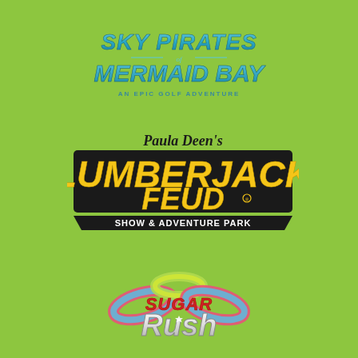[Figure (logo): Sky Pirates of Mermaid Bay - An Epic Golf Adventure logo with teal/blue gradient lettering on green background]
[Figure (logo): Paula Deen's Lumberjack Feud Show & Adventure Park logo with large yellow bold letters on black badge shape]
[Figure (logo): Sugar Rush logo with colorful swirling candy ring design in pink, blue, green and yellow with white and red lettering]